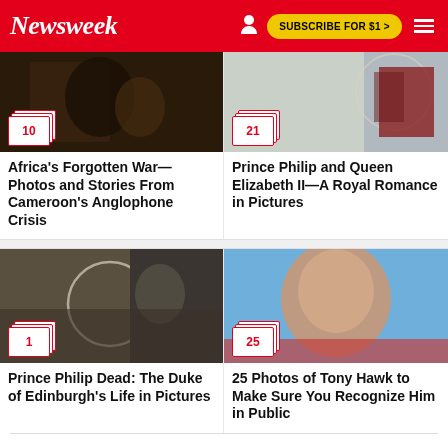Newsweek | SUBSCRIBE FOR $1 >
[Figure (photo): Dark photo thumbnail for Africa article with photo count badge showing 10]
Africa's Forgotten War—Photos and Stories From Cameroon's Anglophone Crisis
[Figure (photo): Photo of Queen Elizabeth II clothing/wardrobe with photo count badge showing 21]
Prince Philip and Queen Elizabeth II—A Royal Romance in Pictures
[Figure (photo): Collage of Prince Philip photos with photo count badge showing 1]
Prince Philip Dead: The Duke of Edinburgh's Life in Pictures
[Figure (photo): Photo of Tony Hawk smiling against blue background with photo count badge showing 25]
25 Photos of Tony Hawk to Make Sure You Recognize Him in Public